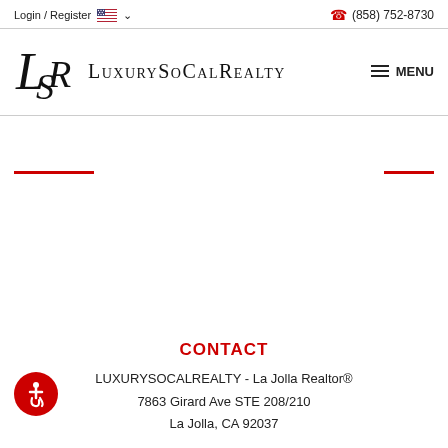Login / Register  (858) 752-8730
[Figure (logo): LuxurySoCalRealty logo with LSR letterform and company name]
CONTACT
LUXURYSOCALREALTY - La Jolla Realtor®
7863 Girard Ave STE 208/210
La Jolla, CA 92037